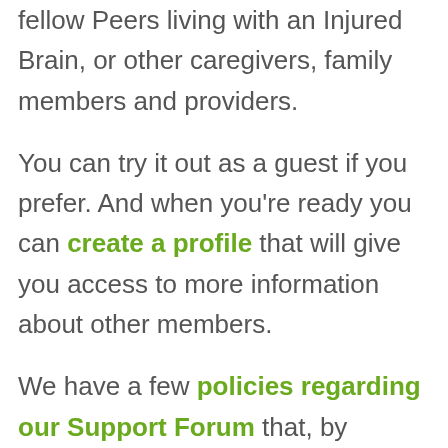fellow Peers living with an Injured Brain, or other caregivers, family members and providers.
You can try it out as a guest if you prefer. And when you're ready you can create a profile that will give you access to more information about other members.
We have a few policies regarding our Support Forum that, by posting on this site, you agree to. And you can